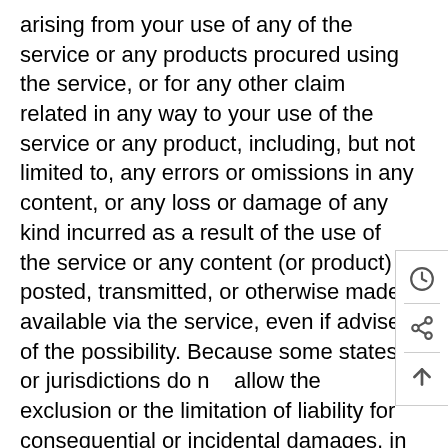arising from your use of any of the service or any products procured using the service, or for any other claim related in any way to your use of the service or any product, including, but not limited to, any errors or omissions in any content, or any loss or damage of any kind incurred as a result of the use of the service or any content (or product) posted, transmitted, or otherwise made available via the service, even if advised of the possibility. Because some states or jurisdictions do not allow the exclusion or the limitation of liability for consequential or incidental damages, in such states or jurisdictions, our liability shall be limited to the maximum extent permitted by law.
SECTION 14 – INDEMNIFICATION
You agree to indemnify, defend and hold harmless Comfy Moda and our parent, subsidiaries, affiliates, partners, officers, directors, agents, contractors,